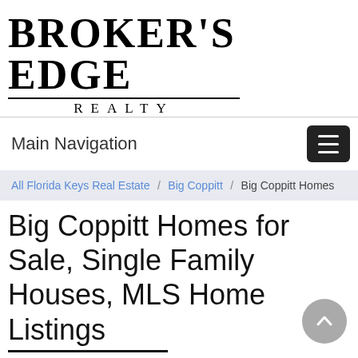BROKER'S EDGE REALTY
Main Navigation
All Florida Keys Real Estate / Big Coppitt / Big Coppitt Homes
Big Coppitt Homes for Sale, Single Family Houses, MLS Home Listings
Houses in Big Coppitt Key can be found nestled in the natural beauty of the Lower Florida Keys real estate market. Big Read More
Total Listings 18
Order By: